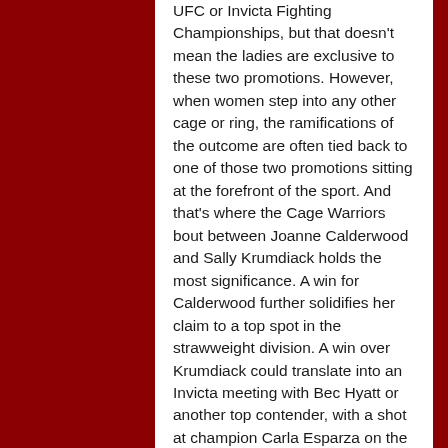UFC or Invicta Fighting Championships, but that doesn't mean the ladies are exclusive to these two promotions. However, when women step into any other cage or ring, the ramifications of the outcome are often tied back to one of those two promotions sitting at the forefront of the sport. And that's where the Cage Warriors bout between Joanne Calderwood and Sally Krumdiack holds the most significance. A win for Calderwood further solidifies her claim to a top spot in the strawweight division. A win over Krumdiack could translate into an Invicta meeting with Bec Hyatt or another top contender, with a shot at champion Carla Esparza on the line.
Calderwood's striking has carried her to an undefeated five-fight professional record. That striking skill set is no joke. She started training Muay Thai at the age of 13 and has developed into a championship-level competitor. She holds the ISKA World Flyweight Championship and several other Muay Thai titles and is ranked No. 2 in the world by the World